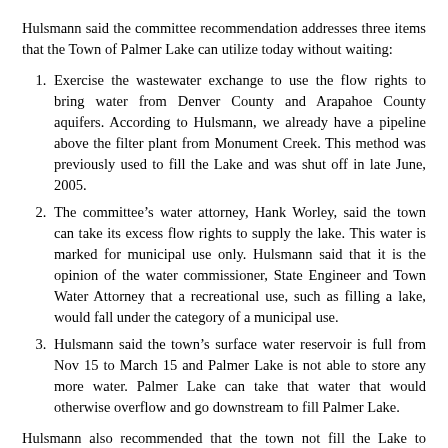Hulsmann said the committee recommendation addresses three items that the Town of Palmer Lake can utilize today without waiting:
Exercise the wastewater exchange to use the flow rights to bring water from Denver County and Arapahoe County aquifers. According to Hulsmann, we already have a pipeline above the filter plant from Monument Creek. This method was previously used to fill the Lake and was shut off in late June, 2005.
The committee’s water attorney, Hank Worley, said the town can take its excess flow rights to supply the lake. This water is marked for municipal use only. Hulsmann said that it is the opinion of the water commissioner, State Engineer and Town Water Attorney that a recreational use, such as filling a lake, would fall under the category of a municipal use.
Hulsmann said the town’s surface water reservoir is full from Nov 15 to March 15 and Palmer Lake is not able to store any more water. Palmer Lake can take that water that would otherwise overflow and go downstream to fill Palmer Lake.
Hulsmann also recommended that the town not fill the Lake to capacity right away. He suggested that the lake be filled to the 75 percent level. “This way we can use the 75 percent full as a